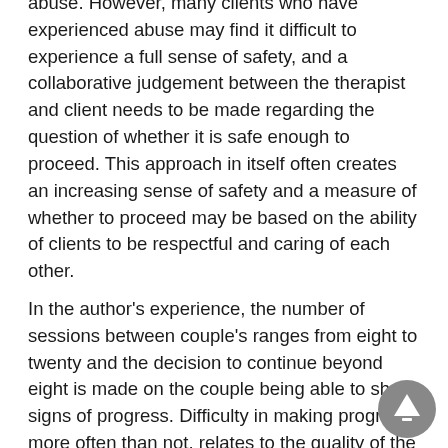abuse. However, many clients who have experienced abuse may find it difficult to experience a full sense of safety, and a collaborative judgement between the therapist and client needs to be made regarding the question of whether it is safe enough to proceed. This approach in itself often creates an increasing sense of safety and a measure of whether to proceed may be based on the ability of clients to be respectful and caring of each other.
In the author's experience, the number of sessions between couple's ranges from eight to twenty and the decision to continue beyond eight is made on the couple being able to show signs of progress. Difficulty in making progress, more often than not, relates to the quality of the couple's relationship, and